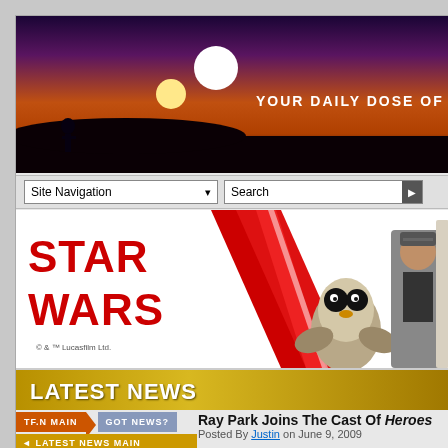[Figure (screenshot): Website header banner with Star Wars / TheForce.net style. Purple-orange sunset with two suns and silhouette. Text: YOUR DAILY DOSE OF STA[R WARS]]
Site Navigation ▾   Search ▶
[Figure (illustration): Star Wars Funko Pop advertisement banner with red STAR WARS logo, red diagonal slashes, and figures of a Porg, Finn, and Luke Skywalker. © & ™ Lucasfilm Ltd.]
LATEST NEWS
TF.N MAIN   GOT NEWS?
Ray Park Joins The Cast Of Heroes
◄ LATEST NEWS MAIN
Posted By Justin on June 9, 2009
MORE TF.N ▶
[Figure (photo): TheForce.NET Now on YouTube thumbnail with lightsaber image]
We've gotten word from multiple fans that a certain double-bladed lightsaber-wielding Sith will be joining the cast of NBC's hit TV series Heroes next season.
According to EW.com, Ray Park will be appearing in the upcoming series.